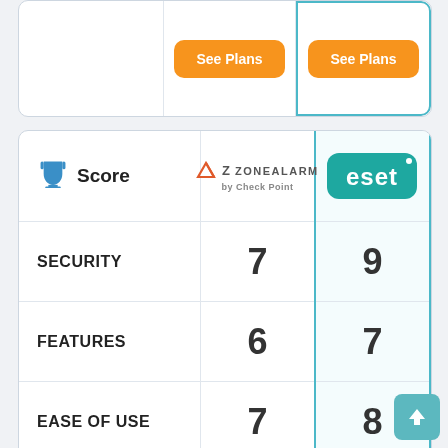| Score | ZoneAlarm by Check Point | ESET |
| --- | --- | --- |
| SECURITY | 7 | 9 |
| FEATURES | 6 | 7 |
| EASE OF USE | 7 | 8 |